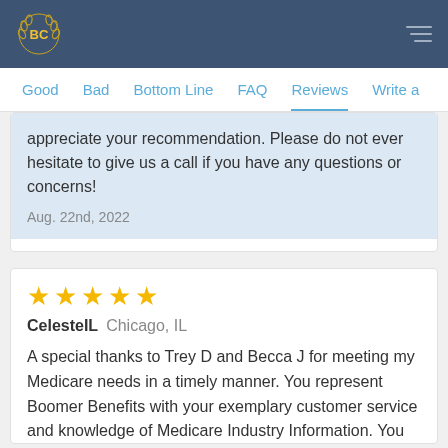BC (logo) | navigation menu
Good  Bad  Bottom Line  FAQ  Reviews  Write a
appreciate your recommendation. Please do not ever hesitate to give us a call if you have any questions or concerns!
Aug. 22nd, 2022
★★★★★
CelesteIL  Chicago, IL
A special thanks to Trey D and Becca J for meeting my Medicare needs in a timely manner. You represent Boomer Benefits with your exemplary customer service and knowledge of Medicare Industry Information. You make my future in maintaining my